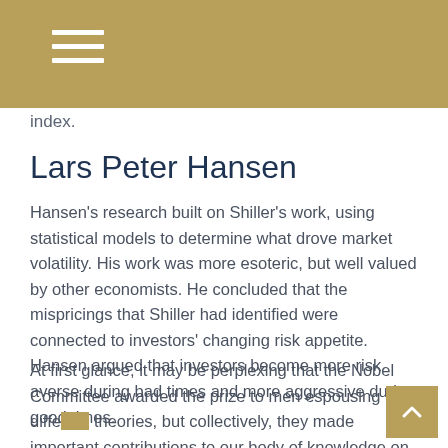index.
Lars Peter Hansen
Hansen's research built on Shiller's work, using statistical models to determine what drove market volatility. His work was more esoteric, but well valued by other economists. He concluded that the mispricings that Shiller had identified were connected to investors' changing risk appetite. Hansen argued that investors become more risk averse during bad times and more aggressive during good times.
At first glance, it may be perplexing that the Nobel Committee awarded the prize to men espousing diffe rent theories, but collectively, they made important contributions to our body of knowledge on how assets are